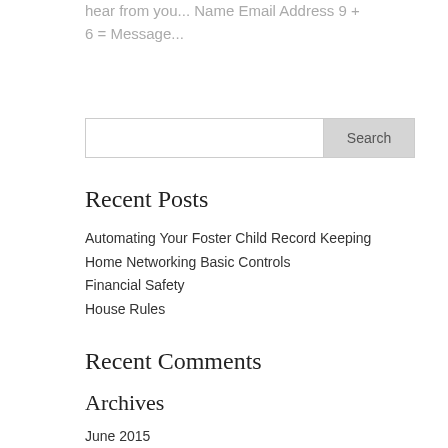hear from you... Name Email Address 9 + 6 = Message...
Search
Recent Posts
Automating Your Foster Child Record Keeping
Home Networking Basic Controls
Financial Safety
House Rules
Recent Comments
Archives
June 2015